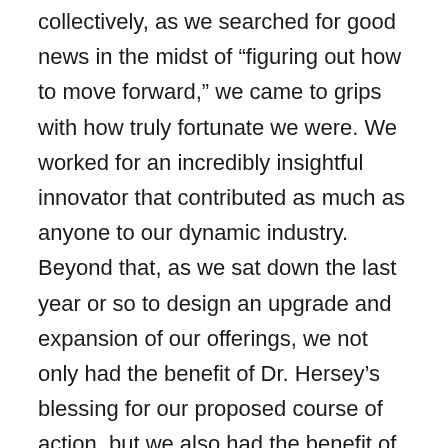collectively, as we searched for good news in the midst of “figuring out how to move forward,” we came to grips with how truly fortunate we were. We worked for an incredibly insightful innovator that contributed as much as anyone to our dynamic industry. Beyond that, as we sat down the last year or so to design an upgrade and expansion of our offerings, we not only had the benefit of Dr. Hersey’s blessing for our proposed course of action, but we also had the benefit of his insight in shaping its form.
Earlier, we mentioned that we wanted to share about ourselves. The following are the core beliefs that we feel truly make us unique in this overly